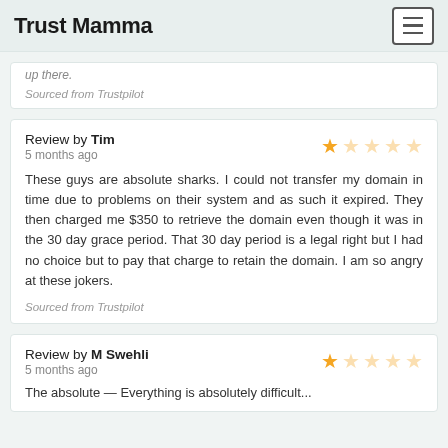Trust Mamma
up there.
Sourced from Trustpilot
Review by Tim
5 months ago
These guys are absolute sharks. I could not transfer my domain in time due to problems on their system and as such it expired. They then charged me $350 to retrieve the domain even though it was in the 30 day grace period. That 30 day period is a legal right but I had no choice but to pay that charge to retain the domain. I am so angry at these jokers.
Sourced from Trustpilot
Review by M Swehli
5 months ago
The absolute — Everything is absolutely difficult...